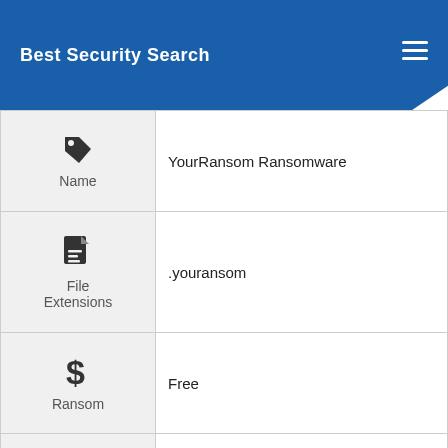Best Security Search
| Field | Value |
| --- | --- |
| Name | YourRansom Ransomware |
| File Extensions | .youransom |
| Ransom | Free |
| Solution #1 | You can skip all steps and remove YourRansom Ransomware with the help of an anti-malware tool. |
| Solution #2 | YourRansom Ransomware ransomware can be removed manually, though it can be |